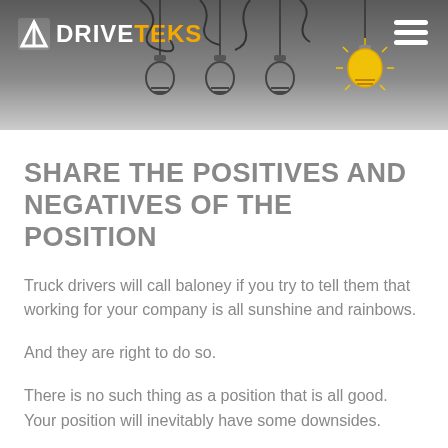DRIVETEKS
SHARE THE POSITIVES AND NEGATIVES OF THE POSITION
Truck drivers will call baloney if you try to tell them that working for your company is all sunshine and rainbows.
And they are right to do so.
There is no such thing as a position that is all good. Your position will inevitably have some downsides.
Share the downsides with the truck driver.